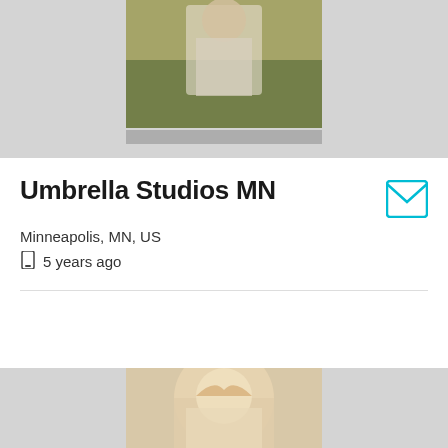[Figure (photo): Outdoor photo of a person in a field with wildflowers, partly visible at top of page]
Umbrella Studios MN
Minneapolis, MN, US
5 years ago
Details
[Figure (photo): Portrait photo of a blonde woman, partially visible at bottom of page]